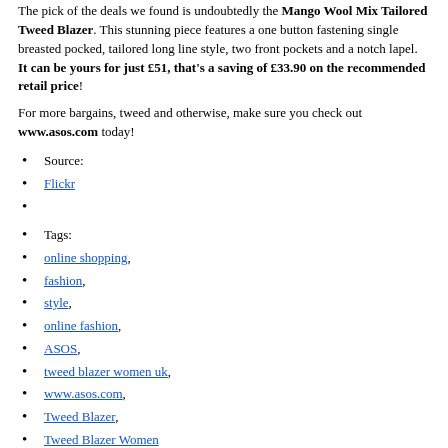The pick of the deals we found is undoubtedly the Mango Wool Mix Tailored Tweed Blazer. This stunning piece features a one button fastening single breasted pocked, tailored long line style, two front pockets and a notch lapel. It can be yours for just £51, that's a saving of £33.90 on the recommended retail price!
For more bargains, tweed and otherwise, make sure you check out www.asos.com today!
Source:
Flickr
Tags:
online shopping,
fashion,
style,
online fashion,
ASOS,
tweed blazer women uk,
www.asos.com,
Tweed Blazer,
Tweed Blazer Women
On the same subject